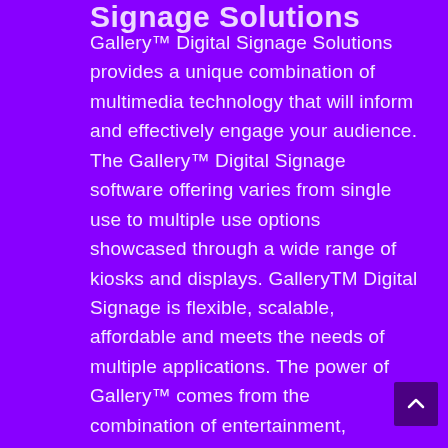Signage Solutions
Gallery™ Digital Signage Solutions provides a unique combination of multimedia technology that will inform and effectively engage your audience. The Gallery™ Digital Signage software offering varies from single use to multiple use options showcased through a wide range of kiosks and displays. GalleryTM Digital Signage is flexible, scalable, affordable and meets the needs of multiple applications. The power of Gallery™ comes from the combination of entertainment,